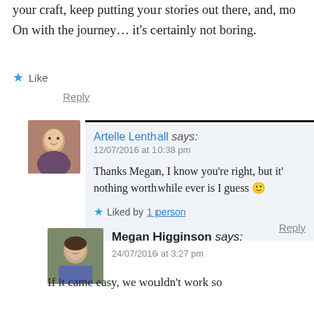your craft, keep putting your stories out there, and, mo… On with the journey… it's certainly not boring.
Like
Reply
Artelle Lenthall says:
12/07/2016 at 10:38 pm
Thanks Megan, I know you're right, but it's nothing worthwhile ever is I guess 🙂
Liked by 1 person
Reply
Megan Higginson says:
24/07/2016 at 3:27 pm
If it came easy, we wouldn't work so…